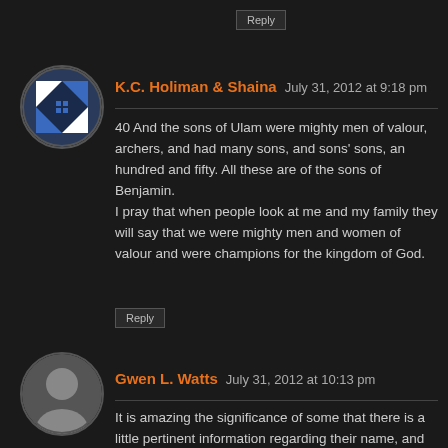Reply
K.C. Holiman & Shaina   July 31, 2012 at 9:18 pm
40 And the sons of Ulam were mighty men of valour, archers, and had many sons, and sons' sons, an hundred and fifty. All these are of the sons of Benjamin.
I pray that when people look at me and my family they will say that we were mighty men and women of valour and were champions for the kingdom of God.
Reply
Gwen L. Watts   July 31, 2012 at 10:13 pm
It is amazing the significance of some that there is a little pertinent information regarding their name, and